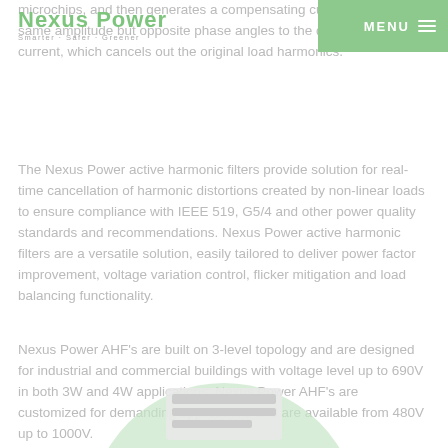Nexus Power — Smarter · Safer · Greener | MENU
microchips, and then generates a compensating current with the same amplitude but opposite phase angles to the detected harmonic current, which cancels out the original load harmonics.
The Nexus Power active harmonic filters provide solution for real-time cancellation of harmonic distortions created by non-linear loads to ensure compliance with IEEE 519, G5/4 and other power quality standards and recommendations. Nexus Power active harmonic filters are a versatile solution, easily tailored to deliver power factor improvement, voltage variation control, flicker mitigation and load balancing functionality.
Nexus Power AHF's are built on 3-level topology and are designed for industrial and commercial buildings with voltage level up to 690V in both 3W and 4W applications. Nexus Power AHF's are customized for demanding applications and are available from 480V up to 1000V.
[Figure (photo): Circular green background with a product image of a Nexus Power active harmonic filter unit partially visible at the bottom of the page.]